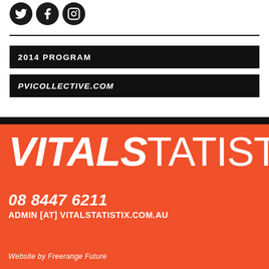[Figure (logo): Three social media icon circles (Twitter, Facebook, Instagram) in dark/black color with white icons]
2014 PROGRAM
PVICOLLECTIVE.COM
VITALSTATISTIX
08 8447 6211
ADMIN [AT] VITALSTATISTIX.COM.AU
Website by Freerange Future